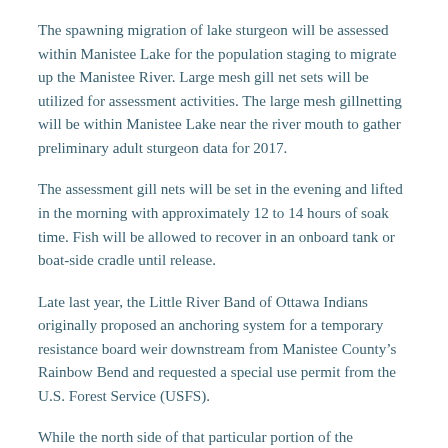The spawning migration of lake sturgeon will be assessed within Manistee Lake for the population staging to migrate up the Manistee River. Large mesh gill net sets will be utilized for assessment activities. The large mesh gillnetting will be within Manistee Lake near the river mouth to gather preliminary adult sturgeon data for 2017.
The assessment gill nets will be set in the evening and lifted in the morning with approximately 12 to 14 hours of soak time. Fish will be allowed to recover in an onboard tank or boat-side cradle until release.
Late last year, the Little River Band of Ottawa Indians originally proposed an anchoring system for a temporary resistance board weir downstream from Manistee County’s Rainbow Bend and requested a special use permit from the U.S. Forest Service (USFS).
While the north side of that particular portion of the Manistee River is owned by the LRBOI, installing the weir would involve anchoring it to Manistee National Forest lands on the south side.
However, after a flood of public comments and concerns about the